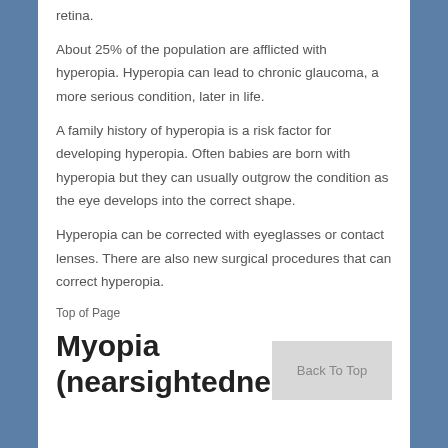retina.
About 25% of the population are afflicted with hyperopia. Hyperopia can lead to chronic glaucoma, a more serious condition, later in life.
A family history of hyperopia is a risk factor for developing hyperopia. Often babies are born with hyperopia but they can usually outgrow the condition as the eye develops into the correct shape.
Hyperopia can be corrected with eyeglasses or contact lenses. There are also new surgical procedures that can correct hyperopia.
Top of Page
Myopia (nearsightedness)